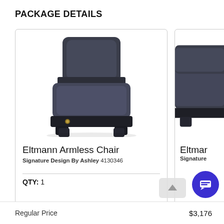PACKAGE DETAILS
[Figure (photo): Dark gray upholstered armless chair (Eltmann Armless Chair) with cushioned seat and back, dark wood legs, photographed on white background.]
Eltmann Armless Chair
Signature Design By Ashley 4130346
QTY:  1
[Figure (photo): Partial view of dark gray upholstered sofa or sectional (Eltmann series), cropped on the right side of the page.]
Eltmar
Signature
Regular Price
$3,176